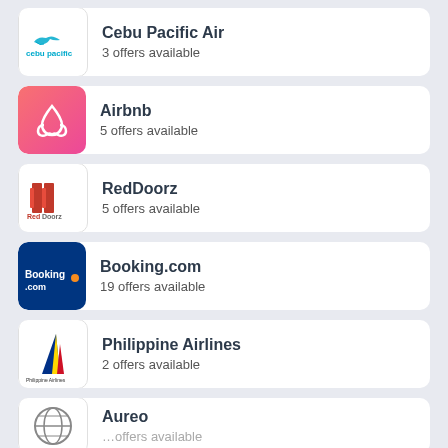Cebu Pacific Air
3 offers available
Airbnb
5 offers available
RedDoorz
5 offers available
Booking.com
19 offers available
Philippine Airlines
2 offers available
Aureo
(offers available — partially visible)